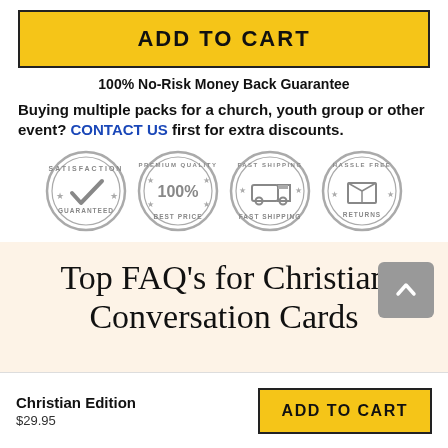[Figure (illustration): Yellow 'ADD TO CART' button with black border]
100% No-Risk Money Back Guarantee
Buying multiple packs for a church, youth group or other event? CONTACT US first for extra discounts.
[Figure (illustration): Four circular trust badges: Satisfaction Guaranteed, Premium Quality 100% Best Price, Fast Shipping, Hassle Free Returns]
Top FAQ's for Christian Conversation Cards
Christian Edition
$29.95
[Figure (illustration): Yellow 'ADD TO CART' button with black border at bottom of page]